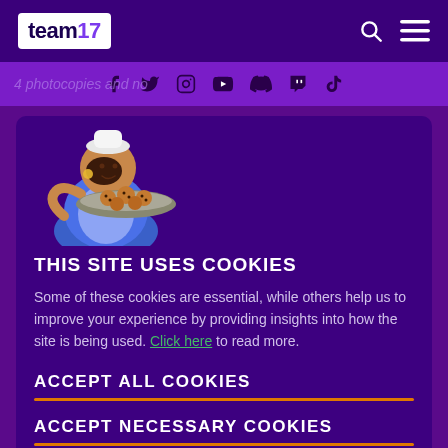[Figure (logo): Team17 logo — white background with 'team17' text, the 7 stylized in purple]
[Figure (infographic): Social media icons: Facebook, Twitter, Instagram, YouTube, Discord, Twitch, TikTok in dark purple on purple bar. Background italic text partly visible: '4 photocopies and no']
[Figure (illustration): Animated character — a chef/baker woman in blue outfit holding a tray of cookies]
THIS SITE USES COOKIES
Some of these cookies are essential, while others help us to improve your experience by providing insights into how the site is being used. Click here to read more.
ACCEPT ALL COOKIES
ACCEPT NECESSARY COOKIES
the spirit or intention of